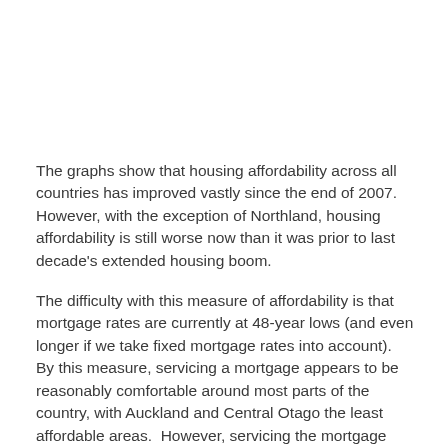The graphs show that housing affordability across all countries has improved vastly since the end of 2007. However, with the exception of Northland, housing affordability is still worse now than it was prior to last decade's extended housing boom.
The difficulty with this measure of affordability is that mortgage rates are currently at 48-year lows (and even longer if we take fixed mortgage rates into account).  By this measure, servicing a mortgage appears to be reasonably comfortable around most parts of the country, with Auckland and Central Otago the least affordable areas.  However, servicing the mortgage would obviously become more difficult if mortgage rates were at more